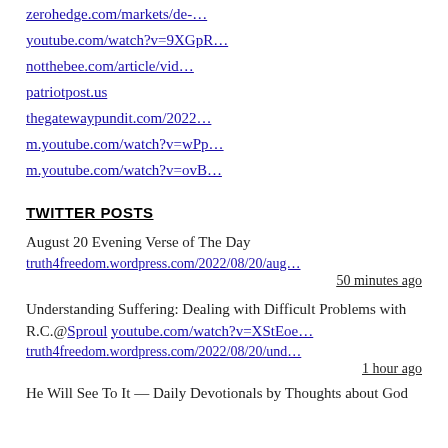zerohedge.com/markets/de-…
youtube.com/watch?v=9XGpR…
notthebee.com/article/vid…
patriotpost.us
thegatewaypundit.com/2022…
m.youtube.com/watch?v=wPp…
m.youtube.com/watch?v=ovB…
TWITTER POSTS
August 20 Evening Verse of The Day
truth4freedom.wordpress.com/2022/08/20/aug…
50 minutes ago
Understanding Suffering: Dealing with Difficult Problems with R.C.@Sproul youtube.com/watch?v=XStEoe…
truth4freedom.wordpress.com/2022/08/20/und…
1 hour ago
He Will See To It — Daily Devotionals by Thoughts about God